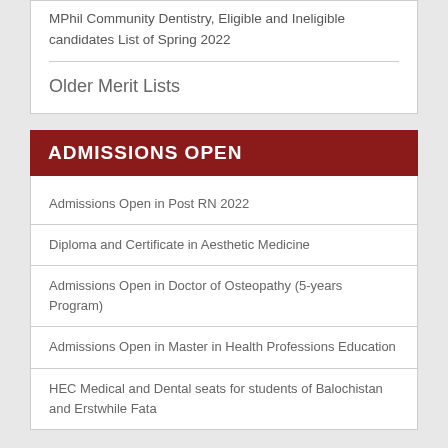MPhil Community Dentistry, Eligible and Ineligible candidates List of Spring 2022
Older Merit Lists
ADMISSIONS OPEN
Admissions Open in Post RN 2022
Diploma and Certificate in Aesthetic Medicine
Admissions Open in Doctor of Osteopathy (5-years Program)
Admissions Open in Master in Health Professions Education
HEC Medical and Dental seats for students of Balochistan and Erstwhile Fata